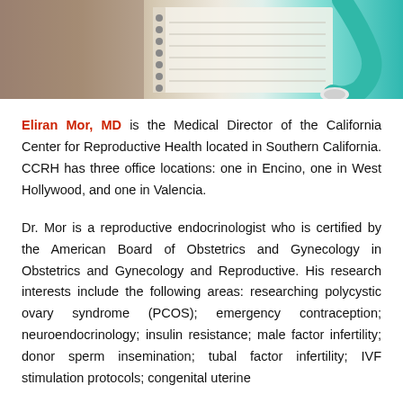[Figure (photo): Photo banner showing a stethoscope and notebook, teal/green and beige tones]
Eliran Mor, MD is the Medical Director of the California Center for Reproductive Health located in Southern California. CCRH has three office locations: one in Encino, one in West Hollywood, and one in Valencia.
Dr. Mor is a reproductive endocrinologist who is certified by the American Board of Obstetrics and Gynecology in Obstetrics and Gynecology and Reproductive. His research interests include the following areas: researching polycystic ovary syndrome (PCOS); emergency contraception; neuroendocrinology; insulin resistance; male factor infertility; donor sperm insemination; tubal factor infertility; IVF stimulation protocols; congenital uterine